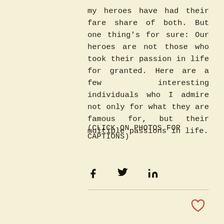my heroes have had their fare share of both. But one thing's for sure: Our heroes are not those who took their passion in life for granted. Here are a few interesting individuals who I admire not only for what they are famous for, but their multiple passions in life.
(CLICK ON PHOTOS FOR CAPTIONS)
[Figure (infographic): Social share icons: Facebook (f), Twitter (bird), LinkedIn (in)]
[Figure (infographic): Heart/like icon outline in red/coral color]